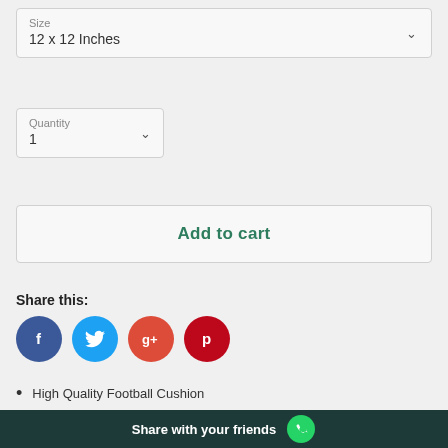Size
12 x 12 Inches
Quantity
1
Add to cart
Share this:
[Figure (infographic): Social share buttons: Facebook (blue circle with f), Twitter (light blue circle with bird), Google+ (red circle with g+), Pinterest (dark red circle with p)]
High Quality Football Cushion
Design is printed on both sides
Can be customised with name & number on reverse side
Share with your friends